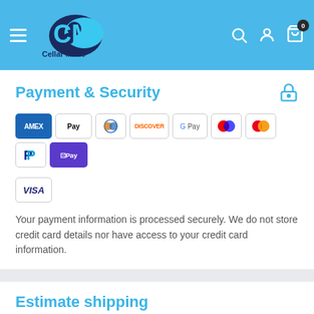CellarMade - Navigation header with logo, search, account, and cart icons
Payment & Security
[Figure (infographic): Payment method icons: AMEX, Apple Pay, Diners Club, Discover, Google Pay, Maestro, Mastercard, PayPal, Shop Pay, VISA]
Your payment information is processed securely. We do not store credit card details nor have access to your credit card information.
Estimate shipping
Country
United Kingdom